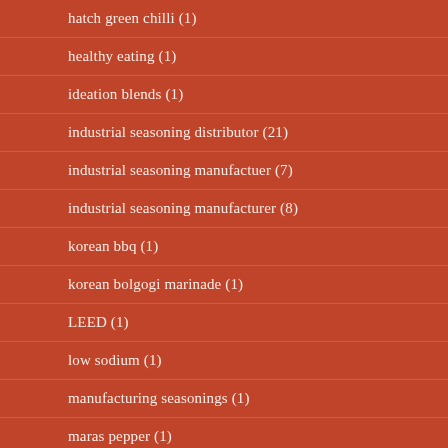hatch green chilli (1)
healthy eating (1)
ideation blends (1)
industrial seasoning distributor (21)
industrial seasoning manufactuer (7)
industrial seasoning manufacturer (8)
korean bbq (1)
korean bolgogi marinade (1)
LEED (1)
low sodium (1)
manufacturing seasonings (1)
maras pepper (1)
maras pepper blend (1)